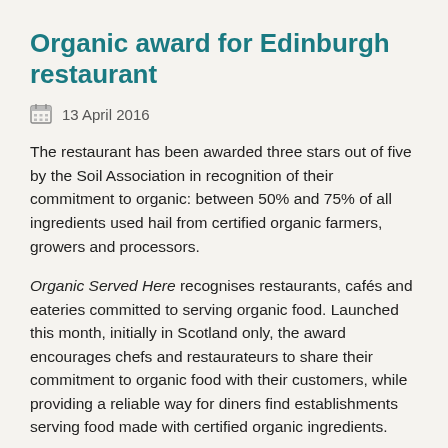Organic award for Edinburgh restaurant
13 April 2016
The restaurant has been awarded three stars out of five by the Soil Association in recognition of their commitment to organic: between 50% and 75% of all ingredients used hail from certified organic farmers, growers and processors.
Organic Served Here recognises restaurants, cafés and eateries committed to serving organic food. Launched this month, initially in Scotland only, the award encourages chefs and restaurateurs to share their commitment to organic food with their customers, while providing a reliable way for diners find establishments serving food made with certified organic ingredients.